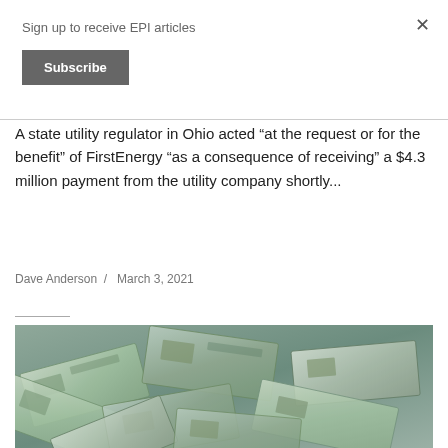Sign up to receive EPI articles
Subscribe
A state utility regulator in Ohio acted “at the request or for the benefit” of FirstEnergy “as a consequence of receiving” a $4.3 million payment from the utility company shortly...
Dave Anderson / March 3, 2021
[Figure (photo): Pile of US $100 dollar bills scattered]